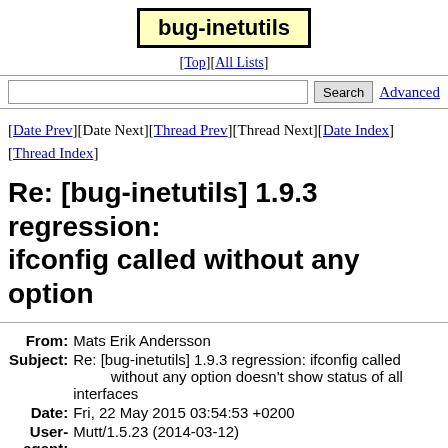bug-inetutils
[Top][All Lists]
Search  Advanced
[Date Prev][Date Next][Thread Prev][Thread Next][Date Index][Thread Index]
Re: [bug-inetutils] 1.9.3 regression: ifconfig called without any option
| Field | Value |
| --- | --- |
| From: | Mats Erik Andersson |
| Subject: | Re: [bug-inetutils] 1.9.3 regression: ifconfig called without any option doesn't show status of all interfaces |
| Date: | Fri, 22 May 2015 03:54:53 +0200 |
| User-agent: | Mutt/1.5.23 (2014-03-12) |
Thursday den 21 May 2015 klockan 05:52 skrev Guillem Jove
> Hey!
>
> On Tue, 2015-05-19 at 20:39:20 +0200, Mats Erik Anderss